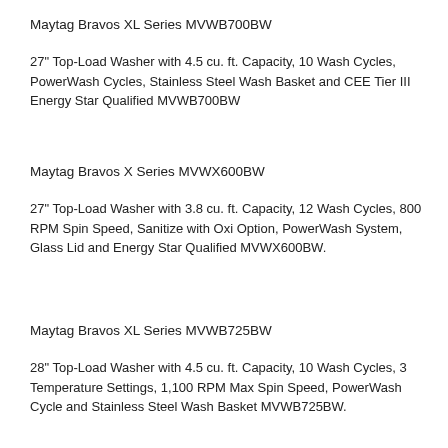Maytag Bravos XL Series MVWB700BW
27" Top-Load Washer with 4.5 cu. ft. Capacity, 10 Wash Cycles, PowerWash Cycles, Stainless Steel Wash Basket and CEE Tier III Energy Star Qualified MVWB700BW
Maytag Bravos X Series MVWX600BW
27" Top-Load Washer with 3.8 cu. ft. Capacity, 12 Wash Cycles, 800 RPM Spin Speed, Sanitize with Oxi Option, PowerWash System, Glass Lid and Energy Star Qualified MVWX600BW.
Maytag Bravos XL Series MVWB725BW
28" Top-Load Washer with 4.5 cu. ft. Capacity, 10 Wash Cycles, 3 Temperature Settings, 1,100 RPM Max Spin Speed, PowerWash Cycle and Stainless Steel Wash Basket MVWB725BW.